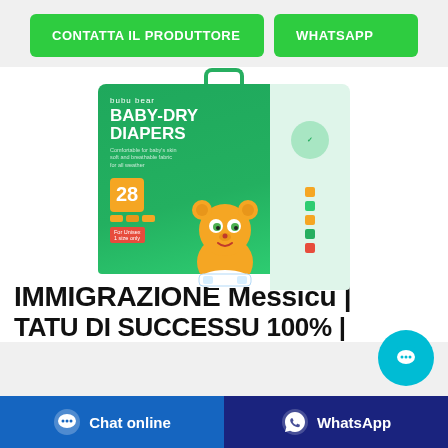[Figure (screenshot): Two green CTA buttons: 'CONTATTA IL PRODUTTORE' and 'WHATSAPP']
[Figure (photo): Product photo of 'bubu bear BABY-DRY DIAPERS' 28 pack, green box with cartoon bear mascot]
IMMIGRAZIONE Messicu |
TATU DI SUCCESSU 100% |
[Figure (screenshot): Bottom bar with Chat online (blue) and WhatsApp (dark blue) buttons]
[Figure (screenshot): Floating teal chat bubble button in lower right]